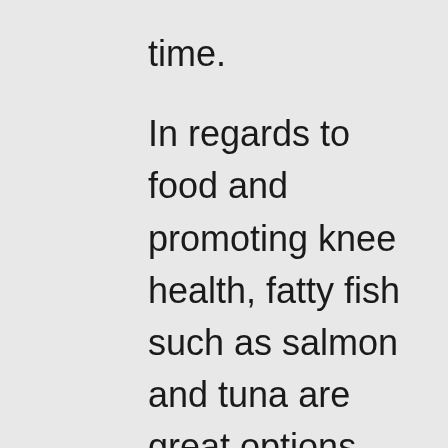time.
In regards to food and promoting knee health, fatty fish such as salmon and tuna are great options. Pineapples and papayas have enzymes that help with healing an injured tendon. Green leafy vegetables are rich in Vitamin D, which can